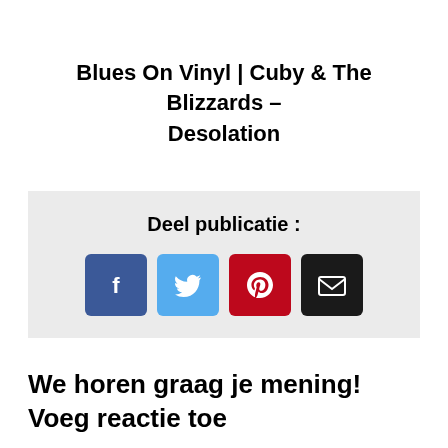Blues On Vinyl | Cuby & The Blizzards – Desolation
Deel publicatie :
[Figure (infographic): Social share buttons: Facebook (blue), Twitter (light blue), Pinterest (red), Email (black)]
We horen graag je mening! Voeg reactie toe